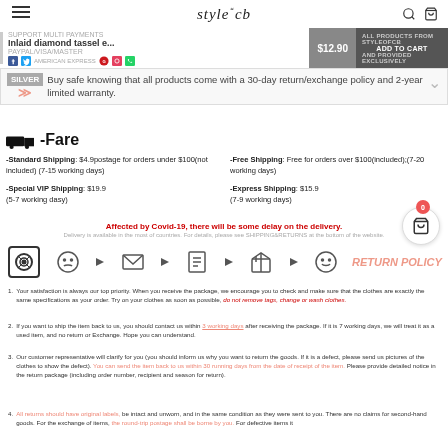styleocb — navigation header with hamburger menu, logo, search and cart icons
Inlaid diamond tassel e... $12.90 — SUPPORT MULTI PAYMENTS PAYPAL/VISA/MASTER AMERICAN EXPRESS — ADD TO CART — ALL PRODUCTS FROM STYLEOFCB AND PROVIDED EXCLUSIVELY
SILVER — Buy safe knowing that all products come with a 30-day return/exchange policy and 2-year limited warranty.
-Fare
-Standard Shipping: $4.9postage for orders under $100(not included) (7-15 working days)
-Free Shipping: Free for orders over $100(included);(7-20 working days)
-Special VIP Shipping: $19.9 (5-7 working dasy)
-Express Shipping: $15.9 (7-9 working days)
Affected by Covid-19, there will be some delay on the delivery.
Delivery is available in the most of countries. For details, please see SHIPPING&RETURNS at the bottom of the website.
[Figure (infographic): Return policy flow: distressed face icon → arrow → email/envelope icon → arrow → document icon → arrow → package/box icon → arrow → happy face icon. Also shows a camera/return icon on the left.]
RETURN POLICY
1. Your satisfaction is always our top priority. When you receive the package, we encourage you to check and make sure that the clothes are exactly the same specifications as your order. Try on your clothes as soon as possible, do not remove tags, change or wash clothes.
2. If you want to ship the item back to us, you should contact us within 3 working days after receiving the package. If it is 7 working days, we will treat it as a used item, and no return or Exchange. Hope you can understand.
3. Our customer representative will clarify for you (you should inform us why you want to return the goods. If it is a defect, please send us pictures of the clothes to show the defect). You can send the item back to us within 30 running days from the date of receipt of the item. Please provide detailed notice in the return package (including order number, recipient and season for return).
4. All returns should have original labels, be intact and unworn, and in the same condition as they were sent to you. There are no claims for second-hand goods. For the exchange of items, the round-trip postage shall be borne by you. For defective items it